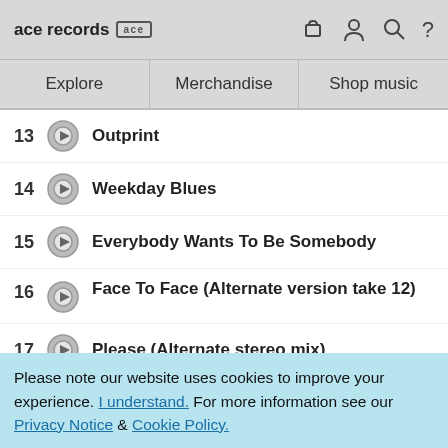ace records [ace logo] [cart] [user] [search] [?]
Explore | Merchandise | Shop music
13  Outprint
14  Weekday Blues
15  Everybody Wants To Be Somebody
16  Face To Face (Alternate version take 12)
17  Please (Alternate stereo mix)
18  Mirror Of Yesterday (Alternate
Please note our website uses cookies to improve your experience. I understand. For more information see our Privacy Notice & Cookie Policy.